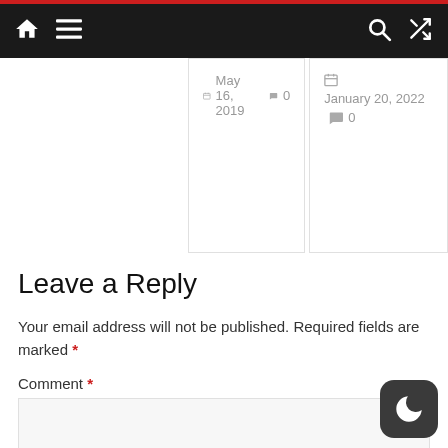Navigation bar with home, menu, search, and shuffle icons
May 16, 2019  0
January 20, 2022  0
Leave a Reply
Your email address will not be published. Required fields are marked *
Comment *
[Figure (other): Dark mode toggle button with crescent moon icon]